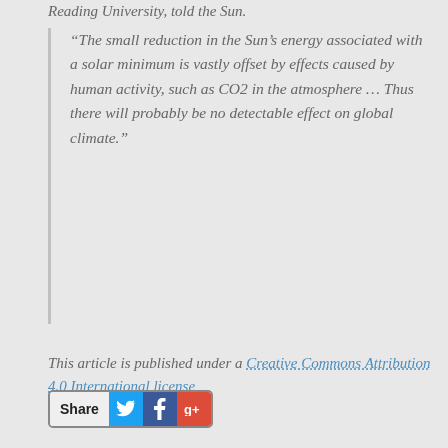Reading University, told the Sun.
“The small reduction in the Sun’s energy associated with a solar minimum is vastly offset by effects caused by human activity, such as CO2 in the atmosphere … Thus there will probably be no detectable effect on global climate.”
This article is published under a Creative Commons Attribution 4.0 International license
[Figure (other): Share button with Twitter, Facebook, and Google+ icons]